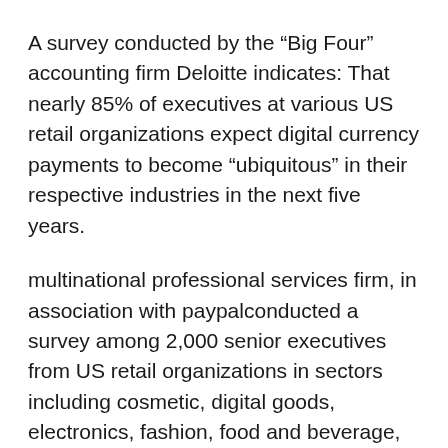A survey conducted by the “Big Four” accounting firm Deloitte indicates: That nearly 85% of executives at various US retail organizations expect digital currency payments to become “ubiquitous” in their respective industries in the next five years.
multinational professional services firm, in association with paypalconducted a survey among 2,000 senior executives from US retail organizations in sectors including cosmetic, digital goods, electronics, fashion, food and beverage, home/garden, hospitality, leisure, and transportation.